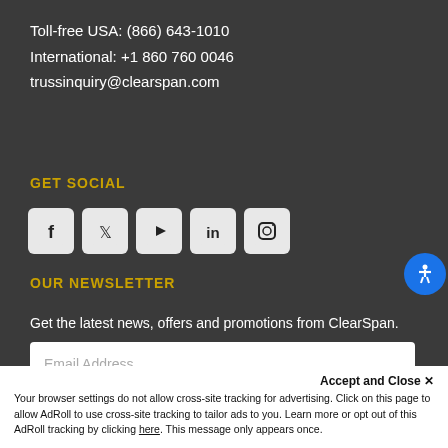Toll-free USA: (866) 643-1010
International: +1 860 760 0046
trussinquiry@clearspan.com
GET SOCIAL
[Figure (infographic): Row of 5 social media icons: Facebook, Twitter, YouTube, LinkedIn, Instagram]
OUR NEWSLETTER
Get the latest news, offers and promotions from ClearSpan.
Email Address (input field placeholder)
SUBMIT
Accept and Close ✕
Your browser settings do not allow cross-site tracking for advertising. Click on this page to allow AdRoll to use cross-site tracking to tailor ads to you. Learn more or opt out of this AdRoll tracking by clicking here. This message only appears once.